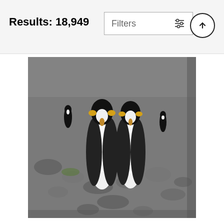Results: 18,949
Filters
[Figure (photo): Photo of king penguins standing on rocky beach at Salisbury Plain, displayed as a canvas/acrylic print product]
Penguins Of Salisbury Plain Acrylic Print
Karen Lunney ♡
$79 (strikethrough) $63
[Figure (photo): Partial photo of a penguin illustration/painting on canvas, showing head and upper body against a light blue-grey background]